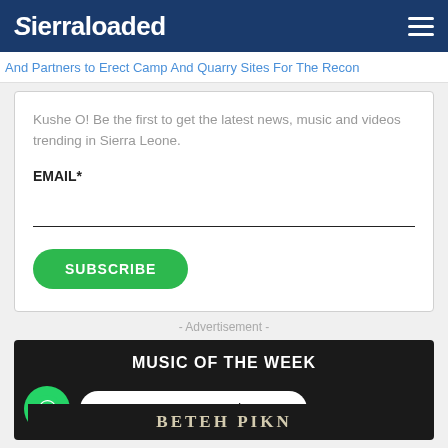Sierraloaded
And Partners to Erect Camp And Quarry Sites For The Recon
Kushe O! Be the first to get the latest news, music and videos trending in Sierra Leone.
EMAIL*
SUBSCRIBE
- Advertisement -
MUSIC OF THE WEEK
Get Latest News on WhatsApp
BETEH PIKN